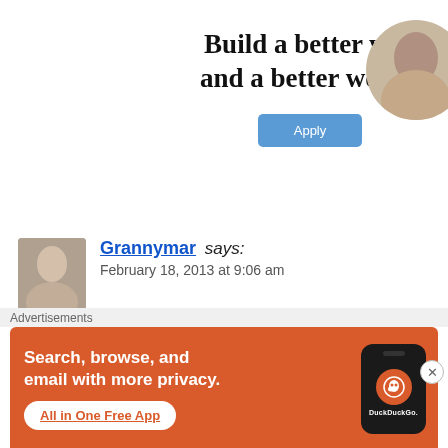[Figure (infographic): Top advertisement banner with bold text 'Build a better web and a better world.' and a blue 'Apply' button, with a circular photo of a person on the right.]
Grannymar says:
February 18, 2013 at 9:06 am
One camel says to the other: “Don’t look back. Dea…
[Figure (infographic): DuckDuckGo advertisement: orange background with text 'Search, browse, and email with more privacy.' and 'All in One Free App' button, with a phone image showing the DuckDuckGo logo.]